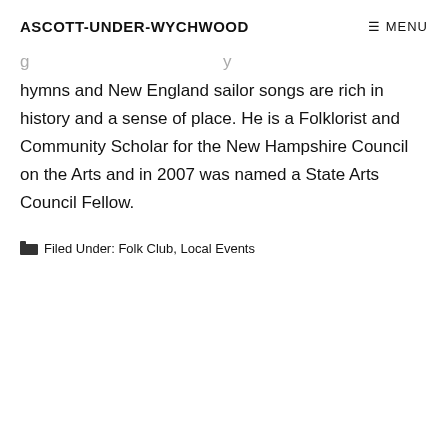ASCOTT-UNDER-WYCHWOOD
hymns and New England sailor songs are rich in history and a sense of place. He is a Folklorist and Community Scholar for the New Hampshire Council on the Arts and in 2007 was named a State Arts Council Fellow.
Filed Under: Folk Club, Local Events